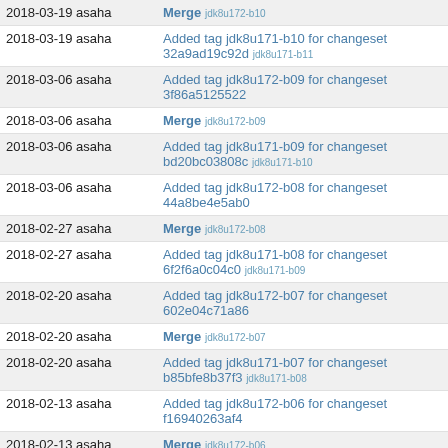| Date / Author | Description |
| --- | --- |
| 2018-03-19 asaha | Merge jdk8u172-b10 |
| 2018-03-19 asaha | Added tag jdk8u171-b10 for changeset 32a9ad19c92d jdk8u171-b11 |
| 2018-03-06 asaha | Added tag jdk8u172-b09 for changeset 3f86a5125522 |
| 2018-03-06 asaha | Merge jdk8u172-b09 |
| 2018-03-06 asaha | Added tag jdk8u171-b09 for changeset bd20bc03808c jdk8u171-b10 |
| 2018-03-06 asaha | Added tag jdk8u172-b08 for changeset 44a8be4e5ab0 |
| 2018-02-27 asaha | Merge jdk8u172-b08 |
| 2018-02-27 asaha | Added tag jdk8u171-b08 for changeset 6f2f6a0c04c0 jdk8u171-b09 |
| 2018-02-20 asaha | Added tag jdk8u172-b07 for changeset 602e04c71a86 |
| 2018-02-20 asaha | Merge jdk8u172-b07 |
| 2018-02-20 asaha | Added tag jdk8u171-b07 for changeset b85bfe8b37f3 jdk8u171-b08 |
| 2018-02-13 asaha | Added tag jdk8u172-b06 for changeset f16940263af4 |
| 2018-02-13 asaha | Merge jdk8u172-b06 |
| 2018-02-13 asaha | Added tag jdk8u171-b06 for changeset 5e864978da06 jdk8u171-b07 |